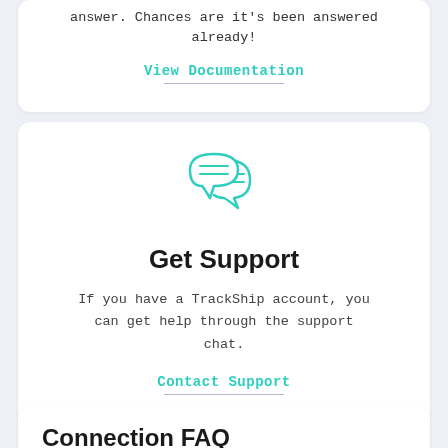answer. Chances are it's been answered already!
View Documentation
[Figure (illustration): Two overlapping speech bubbles icon with horizontal lines inside, drawn in teal/green outline style]
Get Support
If you have a TrackShip account, you can get help through the support chat.
Contact Support
Connection FAQ